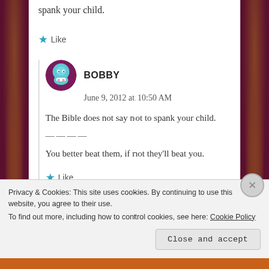spank your child.
★ Like
BOBBY
June 9, 2012 at 10:50 AM

The Bible does not say not to spank your child.

————

You better beat them, if not they'll beat you.
★ Like
Privacy & Cookies: This site uses cookies. By continuing to use this website, you agree to their use.
To find out more, including how to control cookies, see here: Cookie Policy
Close and accept